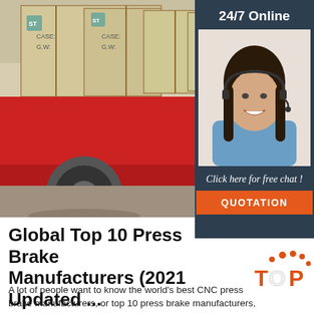[Figure (photo): A red flatbed truck loaded with large wooden crates labeled with 'CASE' and 'G.W.' markings, photographed outdoors.]
[Figure (photo): A smiling woman wearing a headset, representing a 24/7 online customer service representative.]
24/7 Online
Click here for free chat !
QUOTATION
Global Top 10 Press Brake Manufacturers (2021 Updated ...
[Figure (logo): A 'TOP' logo with orange dot-arc design above the text, representing a top-ranking badge.]
A lot of people want to know the world's best CNC press brake manufacturers, or top 10 press brake manufacturers, however, very few of them will choose these best press brake in the world.. There is only one